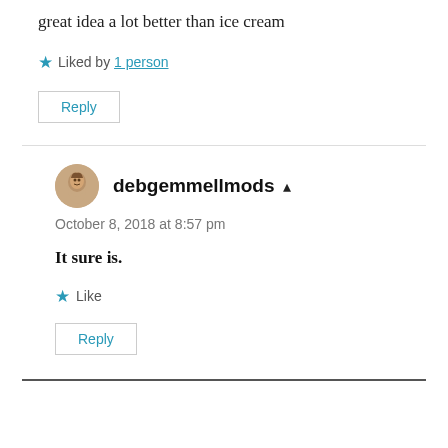great idea a lot better than ice cream
★ Liked by 1 person
Reply
debgemmellmods ▲
October 8, 2018 at 8:57 pm
It sure is.
★ Like
Reply